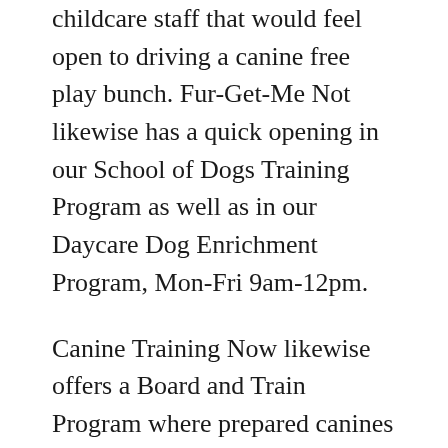childcare staff that would feel open to driving a canine free play bunch. Fur-Get-Me Not likewise has a quick opening in our School of Dogs Training Program as well as in our Daycare Dog Enrichment Program, Mon-Fri 9am-12pm.
Canine Training Now likewise offers a Board and Train Program where prepared canines are boarding at the home of our Trainers for one evening following their day of preparing. This is a significant piece of the set of working responsibilities, and Dog Training Now offers remuneration far over the hours you are paid per canine boarded at home, and we are glad to offer longer periods without canine board if necessary. After you complete your program